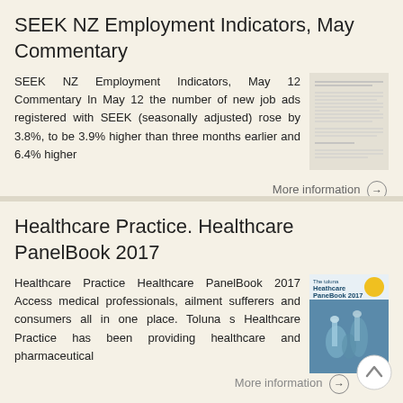SEEK NZ Employment Indicators, May Commentary
SEEK NZ Employment Indicators, May 12 Commentary In May 12 the number of new job ads registered with SEEK (seasonally adjusted) rose by 3.8%, to be 3.9% higher than three months earlier and 6.4% higher
[Figure (screenshot): Thumbnail of a document page showing dense text]
More information →
Healthcare Practice. Healthcare PanelBook 2017
Healthcare Practice Healthcare PanelBook 2017 Access medical professionals, ailment sufferers and consumers all in one place. Toluna s Healthcare Practice has been providing healthcare and pharmaceutical
[Figure (photo): Thumbnail showing Healthcare PanelBook 2017 cover with an image of laboratory glassware]
More information →